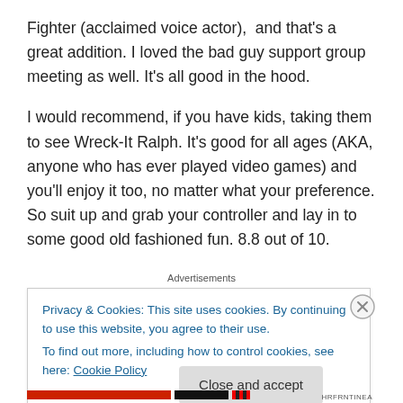Fighter (acclaimed voice actor),  and that's a great addition. I loved the bad guy support group meeting as well. It's all good in the hood.
I would recommend, if you have kids, taking them to see Wreck-It Ralph. It's good for all ages (AKA, anyone who has ever played video games) and you'll enjoy it too, no matter what your preference. So suit up and grab your controller and lay in to some good old fashioned fun. 8.8 out of 10.
Advertisements
Privacy & Cookies: This site uses cookies. By continuing to use this website, you agree to their use.
To find out more, including how to control cookies, see here: Cookie Policy
Close and accept